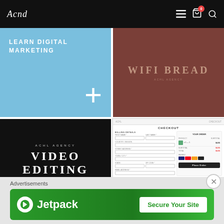[Figure (screenshot): Navigation bar with script logo on left and menu/cart/search icons on right against black background]
[Figure (screenshot): Blue tile with text LEARN DIGITAL MARKETING and a white plus symbol]
[Figure (screenshot): Brown/rust colored tile with text WIFI BREAD]
[Figure (screenshot): Black tile with text ACHL AGENCY / VIDEO EDITING / BOOK TODAY]
[Figure (screenshot): Checkout form UI with billing details form fields and order summary on right]
[Figure (screenshot): Jetpack advertisement banner with Secure Your Site button on green background]
Advertisements